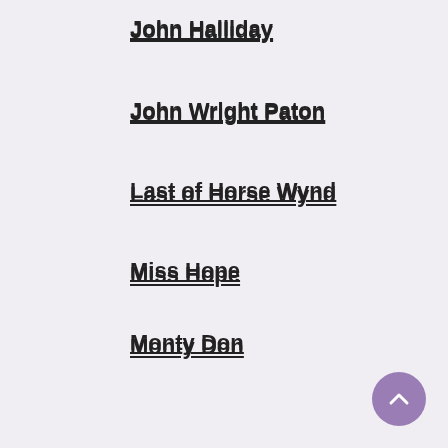John Halliday
John Wright Paton
Last of Horse Wynd
Miss Hope
Monty Don
Ninian Niven
No.1 Shrub Place
OLDEST GARDENER
Patrick's garden
Peter and Sian's garden